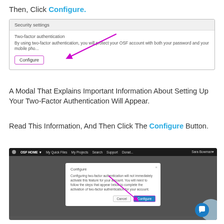Then, Click Configure.
[Figure (screenshot): Screenshot of OSF Security settings panel showing Two-factor authentication section with a Configure button highlighted by a magenta border and a magenta arrow pointing to it.]
A Modal That Explains Important Information About Setting Up Your Two-Factor Authentication Will Appear.
Read This Information, And Then Click The Configure Button.
[Figure (screenshot): Screenshot of OSF HOME interface showing a Configure modal dialog with text about two-factor authentication and Cancel/Configure buttons, with a magenta arrow pointing to the Configure button.]